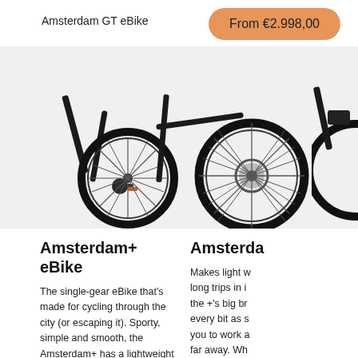Amsterdam GT eBike
From €2.998,00
[Figure (photo): Product photo showing bicycle wheels and frame of Amsterdam eBikes against white/light grey background. Two bikes visible, partially cropped.]
Amsterdam+ eBike
The single-gear eBike that's made for cycling through the city (or escaping it). Sporty, simple and smooth, the Amsterdam+ has a lightweight motor that's not lacking in power. Get more or less power assistance at the touch of a button, for an effortless ride. Looks great, rides brilliantly. Note that our pricing will raise by €300 end of September.
Amsterda
Makes light w... long trips in i... the +'s big br... every bit as s... you to work a... far away. Wh... the most fun. €300 end of...